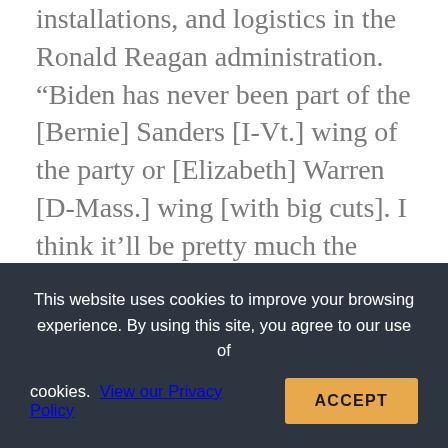installations, and logistics in the Ronald Reagan administration. “Biden has never been part of the [Bernie] Sanders [I-Vt.] wing of the party or [Elizabeth] Warren [D-Mass.] wing [with big cuts]. I think it’ll be pretty much the same.”
Proposals for large cuts, like Sanders’ attempt to shrink the Pentagon budget by 10 percent, have failed to garner much support in Congress.
“If the Democrats had won a big victory in
This website uses cookies to improve your browsing experience. By using this site, you agree to our use of cookies. View our Privacy Policy  ACCEPT